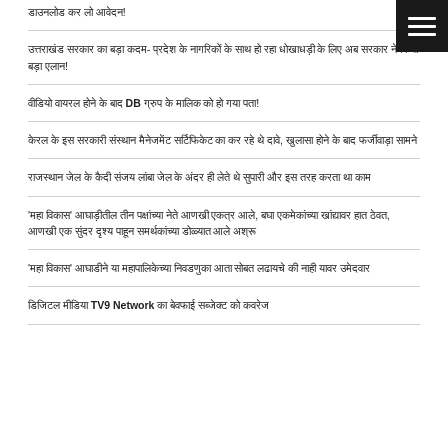[Figure (other): Hamburger menu icon button (dark background with three white horizontal lines)]
डाउनलोड कर लो आवेदन!
उत्तराखंड सरकार का बड़ा कदम- प्रदेश के नागरिकों के साथ हो रहा धोखाधड़ी के लिए अब सरकार ने किया बड़ा एलान!
वीडियो वायरल होने के बाद DB ग्रुप के मालिक को हो गया पता!
केरल के इस सरकारी संस्थान मैनेजमेंट सर्टिफिकेट का कर रहे थे दावे, खुलासा होने के बाद फर्जीवाड़ा सामने
राजस्थान जेल के कैदी संजय लांबा जेल के अंदर ही लेते थे सुपारी और इस तरह करता था काम
'महा विकास' आघाड़ीतील तीन पक्षांच्या नेते आणखी एकत्र आले, बघा एकमेकांच्या खांद्यावर हात ठेवत, आणखी एक सुंदर दृश्य पाहून समर्थकांच्या डोळ्यात आले अश्रू
'महा विकास' आघाडीने या महापालिकेच्या निवडणुका आता सोबत लढायचे की नाही यावर उमेदवार
डिजिटल मीडिया TV9 Network का बेवफाई सब्जेक्ट को कवरेज